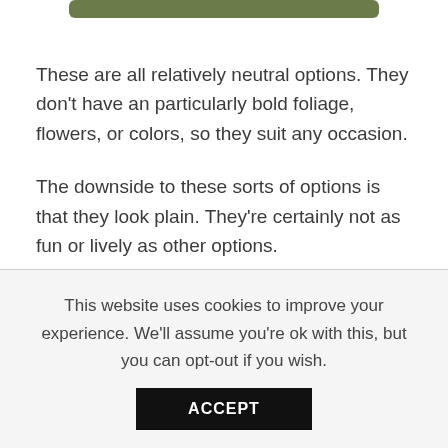[Figure (other): Green rounded rectangle bar at top of page]
These are all relatively neutral options. They don't have an particularly bold foliage, flowers, or colors, so they suit any occasion.
The downside to these sorts of options is that they look plain. They're certainly not as fun or lively as other options.
But there is an easy fix for that!
This website uses cookies to improve your experience. We'll assume you're ok with this, but you can opt-out if you wish.
ACCEPT